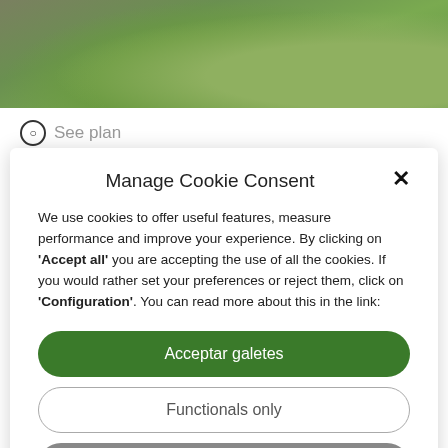[Figure (photo): Outdoor lawn/garden scene with grass and patio furniture visible at top of page]
See plan
Manage Cookie Consent
We use cookies to offer useful features, measure performance and improve your experience. By clicking on 'Accept all' you are accepting the use of all the cookies. If you would rather set your preferences or reject them, click on 'Configuration'. You can read more about this in the link:
Acceptar galetes
Functionals only
Configuration
Cookie Policy   Legal Notice and Privacy policy